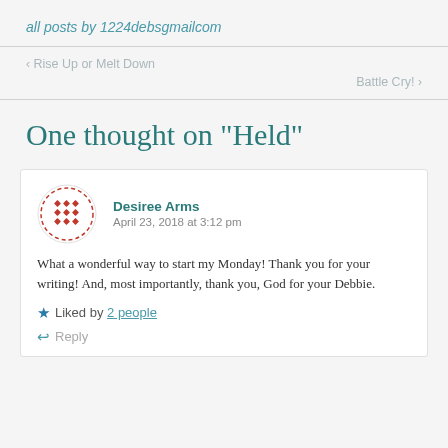all posts by 1224debsgmailcom
‹ Rise Up or Melt Down
Battle Cry! ›
One thought on “Held”
Desiree Arms
April 23, 2018 at 3:12 pm
What a wonderful way to start my Monday! Thank you for your writing! And, most importantly, thank you, God for your Debbie.
★ Liked by 2 people
↩ Reply